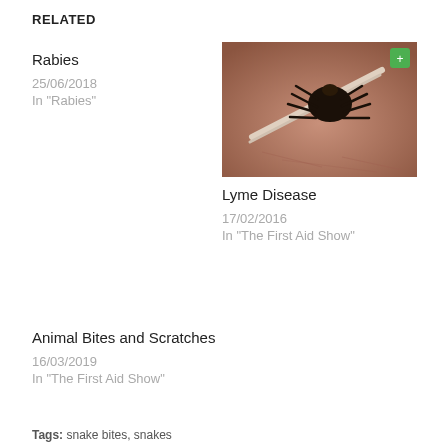RELATED
Rabies
25/06/2018
In "Rabies"
[Figure (photo): Photo of a tick being removed with tweezers, brown skin background, small green icon in top right corner]
Lyme Disease
17/02/2016
In "The First Aid Show"
Animal Bites and Scratches
16/03/2019
In "The First Aid Show"
Tags: snake bites, snakes